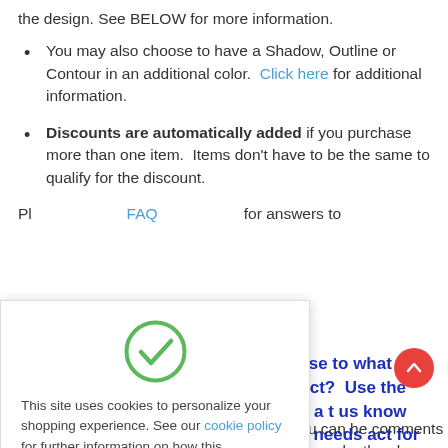the design. See BELOW for more information.
You may also choose to have a Shadow, Outline or Contour in an additional color.  Click here for additional information.
Discounts are automatically added if you purchase more than one item.  Items don't have to be the same to qualify for the discount.
Pl... the FAQ for answers to
[Figure (other): Green circle with white checkmark icon — cookie consent confirmation icon]
This site uses cookies to personalize your shopping experience. See our cookie policy for further information on how this information is used.
Got It! button
e close to what you are ect?  Use the "Ask a t us know what needs act for you. Or you can he comments box the nake the change and f there are any